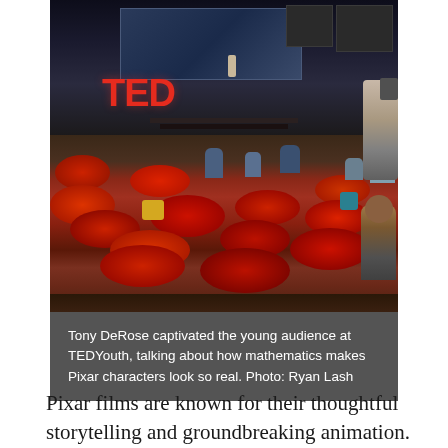[Figure (photo): Tony DeRose speaking on a TED stage to a young audience lounging on red bean bag chairs. The TEDYouth logo is visible in red on the left of the stage. A camera operator is visible on the right side.]
Tony DeRose captivated the young audience at TEDYouth, talking about how mathematics makes Pixar characters look so real. Photo: Ryan Lash
Pixar films are known for their thoughtful storytelling and groundbreaking animation. One of the coolest things about these movies: the math that Pixar's team is actually inventing to improve the audience experience and the look of the characters. We caught up with Pixar's Research